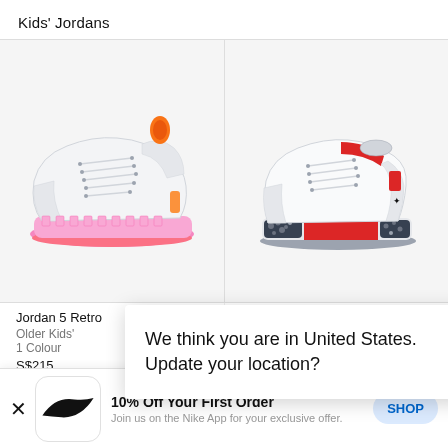Kids' Jordans
[Figure (photo): Jordan 5 Retro sneaker with white upper and pink/coral sole, facing left]
[Figure (photo): Jordan 3 Retro sneaker with white upper, red accents, and black/grey elephant print sole, facing right]
Jordan 5 Retro
Older Kids'
1 Colour
S$215
Jordan 3 Retro
We think you are in United States. Update your location?
10% Off Your First Order
Join us on the Nike App for your exclusive offer.
SHOP